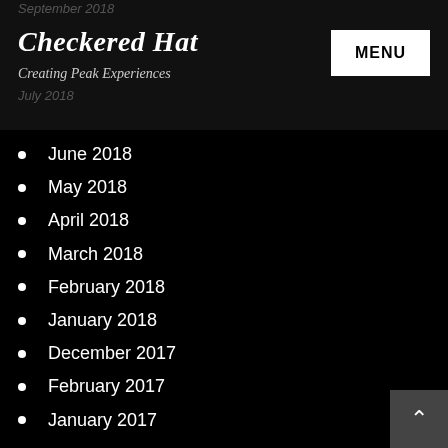Checkered Hat – Creating Peak Experiences
June 2018
May 2018
April 2018
March 2018
February 2018
January 2018
December 2017
February 2017
January 2017
Categories
Events, Concerts and Shows
Music Creation